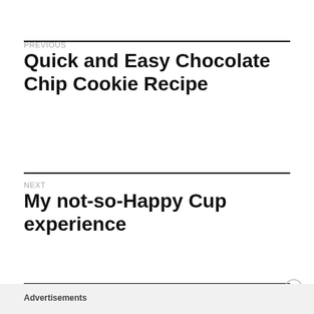PREVIOUS
Quick and Easy Chocolate Chip Cookie Recipe
NEXT
My not-so-Happy Cup experience
Advertisements